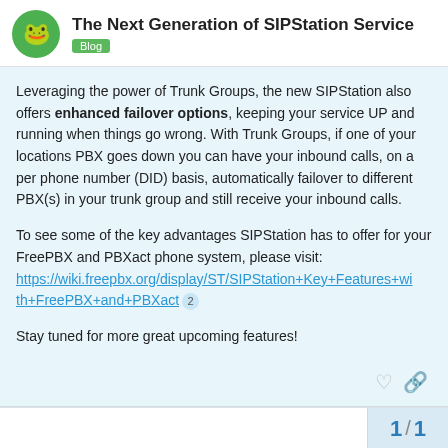The Next Generation of SIPStation Service | Blog
Leveraging the power of Trunk Groups, the new SIPStation also offers enhanced failover options, keeping your service UP and running when things go wrong. With Trunk Groups, if one of your locations PBX goes down you can have your inbound calls, on a per phone number (DID) basis, automatically failover to different PBX(s) in your trunk group and still receive your inbound calls.
To see some of the key advantages SIPStation has to offer for your FreePBX and PBXact phone system, please visit: https://wiki.freepbx.org/display/ST/SIPStation+Key+Features+with+FreePBX+and+PBXact 2
Stay tuned for more great upcoming features!
Suggested Topics